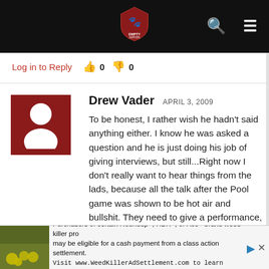[Figure (screenshot): Website top navigation bar with dark background, logo shield icon in center, search icon and hamburger menu icon on right]
Log in to Reply  👍 0  👎 0
Drew Vader   APRIL 3, 2009

To be honest, I rather wish he hadn't said anything either. I know he was asked a question and he is just doing his job of giving interviews, but still...Right now I don't really want to hear things from the lads, because all the talk after the Pool game was shown to be hot air and bullshit. They need to give a performance, not for us the fans, but for themselves. Just to remind them that they can dominate here in the run in if they...
Purchasers of certain Roundup®, HDX®, or Ace® brand weed killer pro may be eligible for a cash payment from a class action settlement. Visit www.WeedKillerAdSettlement.com to learn more.